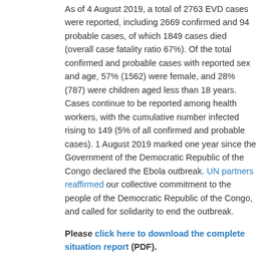As of 4 August 2019, a total of 2763 EVD cases were reported, including 2669 confirmed and 94 probable cases, of which 1849 cases died (overall case fatality ratio 67%). Of the total confirmed and probable cases with reported sex and age, 57% (1562) were female, and 28% (787) were children aged less than 18 years. Cases continue to be reported among health workers, with the cumulative number infected rising to 149 (5% of all confirmed and probable cases). 1 August 2019 marked one year since the Government of the Democratic Republic of the Congo declared the Ebola outbreak. UN partners reaffirmed our collective commitment to the people of the Democratic Republic of the Congo, and called for solidarity to end the outbreak.
Please click here to download the complete situation report (PDF).